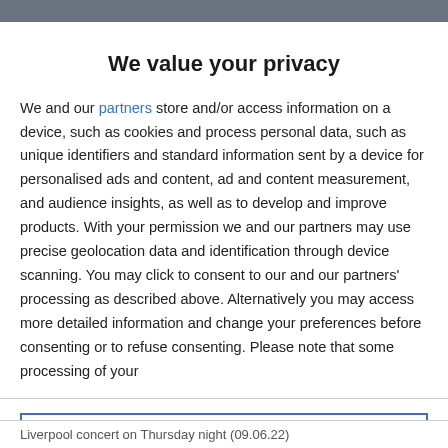We value your privacy
We and our partners store and/or access information on a device, such as cookies and process personal data, such as unique identifiers and standard information sent by a device for personalised ads and content, ad and content measurement, and audience insights, as well as to develop and improve products. With your permission we and our partners may use precise geolocation data and identification through device scanning. You may click to consent to our and our partners' processing as described above. Alternatively you may access more detailed information and change your preferences before consenting or to refuse consenting. Please note that some processing of your
AGREE
MORE OPTIONS
Liverpool concert on Thursday night (09.06.22)